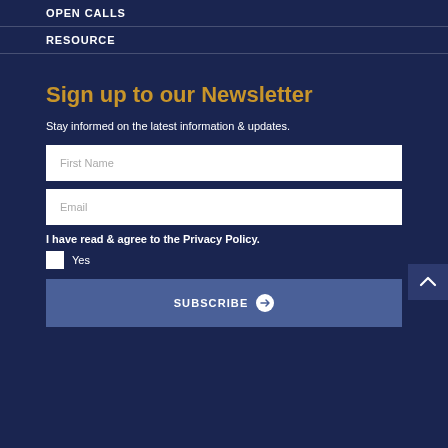OPEN CALLS
RESOURCE
Sign up to our Newsletter
Stay informed on the latest information & updates.
First Name
Email
I have read & agree to the Privacy Policy.
Yes
SUBSCRIBE